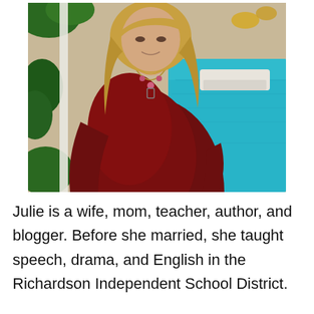[Figure (photo): Portrait photo of Julie, a woman with blonde hair wearing a dark red/maroon ribbed sweater and layered necklaces, standing outdoors near a swimming pool with green foliage in the background.]
Julie is a wife, mom, teacher, author, and blogger. Before she married, she taught speech, drama, and English in the Richardson Independent School District.